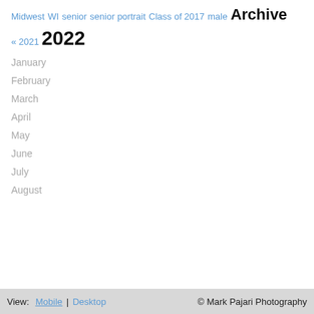Midwest
WI
senior
senior portrait
Class of 2017
male
Archive
« 2021  2022
January
February
March
April
May
June
July
August
View:  Mobile | Desktop   © Mark Pajari Photography